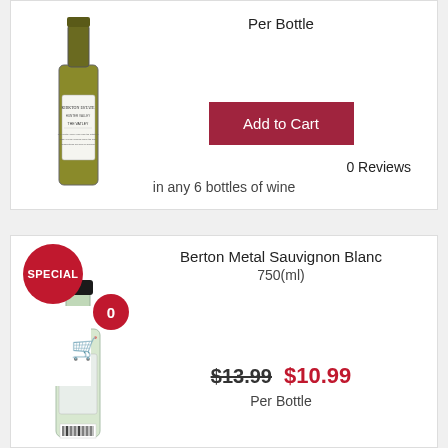[Figure (photo): Wine bottle with Kirkton Estate Hunter Valley label]
Per Bottle
Add to Cart
0 Reviews
in any 6 bottles of wine
[Figure (photo): Berton Metal Sauvignon Blanc 750ml wine bottle with SPECIAL badge and quantity selector]
Berton Metal Sauvignon Blanc
750(ml)
$13.99  $10.99
Per Bottle